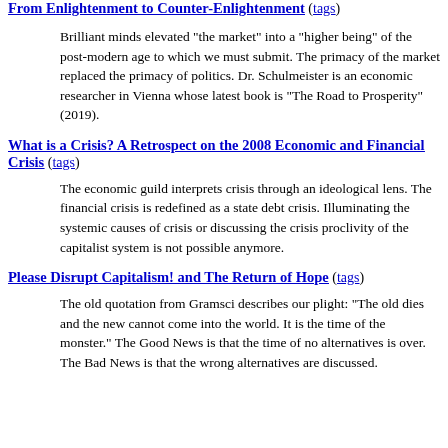From Enlightenment to Counter-Enlightenment (tags)
Brilliant minds elevated "the market" into a "higher being" of the post-modern age to which we must submit. The primacy of the market replaced the primacy of politics. Dr. Schulmeister is an economic researcher in Vienna whose latest book is "The Road to Prosperity" (2019).
What is a Crisis? A Retrospect on the 2008 Economic and Financial Crisis (tags)
The economic guild interprets crisis through an ideological lens. The financial crisis is redefined as a state debt crisis. Illuminating the systemic causes of crisis or discussing the crisis proclivity of the capitalist system is not possible anymore.
Please Disrupt Capitalism! and The Return of Hope (tags)
The old quotation from Gramsci describes our plight: "The old dies and the new cannot come into the world. It is the time of the monster." The Good News is that the time of no alternatives is over. The Bad News is that the wrong alternatives are discussed.